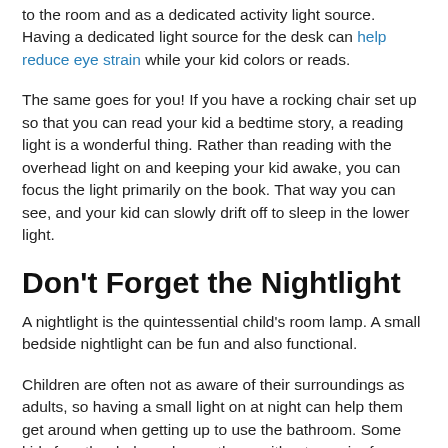to the room and as a dedicated activity light source. Having a dedicated light source for the desk can help reduce eye strain while your kid colors or reads.
The same goes for you! If you have a rocking chair set up so that you can read your kid a bedtime story, a reading light is a wonderful thing. Rather than reading with the overhead light on and keeping your kid awake, you can focus the light primarily on the book. That way you can see, and your kid can slowly drift off to sleep in the lower light.
Don't Forget the Nightlight
A nightlight is the quintessential child's room lamp. A small bedside nightlight can be fun and also functional.
Children are often not as aware of their surroundings as adults, so having a small light on at night can help them get around when getting up to use the bathroom. Some kids fear the dark, and even those without a major fear usually